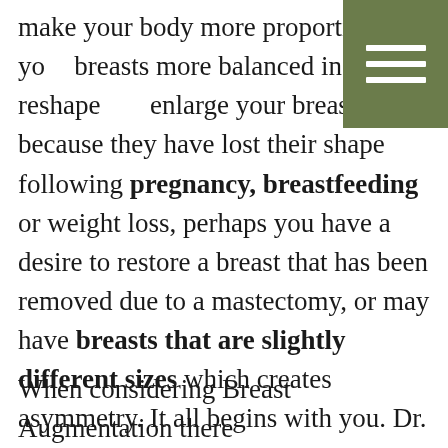make your body more proportional or your breasts more balanced in size, reshape or enlarge your breasts because they have lost their shape following pregnancy, breastfeeding or weight loss, perhaps you have a desire to restore a breast that has been removed due to a mastectomy, or may have breasts that are slightly different sizes which creates asymmetry. It all begins with you. Dr. Case will take the time to understand your goals, seek to educate and help you understand what cosmetic surgery can achieve and guide you throughout the process.
When considering Breast Augmentation there